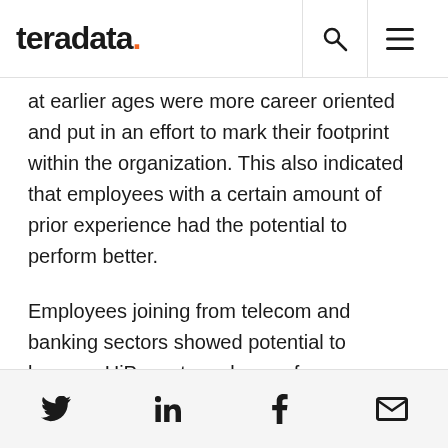teradata.
at earlier ages were more career oriented and put in an effort to mark their footprint within the organization. This also indicated that employees with a certain amount of prior experience had the potential to perform better.
Employees joining from telecom and banking sectors showed potential to become HiPo; yet employees from a computer software industry background didn't show potential to become top performers within our analysis.
Social share icons: Twitter, LinkedIn, Facebook, Email